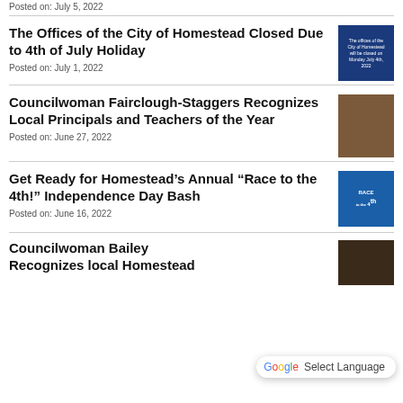Posted on: July 5, 2022
The Offices of the City of Homestead Closed Due to 4th of July Holiday
Posted on: July 1, 2022
Councilwoman Fairclough-Staggers Recognizes Local Principals and Teachers of the Year
Posted on: June 27, 2022
Get Ready for Homestead’s Annual “Race to the 4th!” Independence Day Bash
Posted on: June 16, 2022
Councilwoman Bailey Recognizes local Homestead